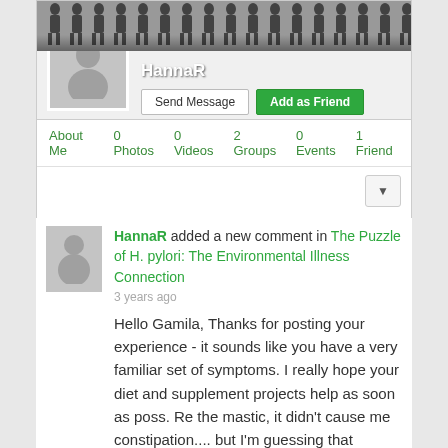[Figure (screenshot): Social network profile page for user HannaR showing cover photo with silhouette figures, avatar, Send Message and Add as Friend buttons, navigation links (About Me, 0 Photos, 0 Videos, 2 Groups, 0 Events, 1 Friend), and a dropdown widget area]
HannaR added a new comment in The Puzzle of H. pylori: The Environmental Illness Connection
3 years ago
Hello Gamila, Thanks for posting your experience - it sounds like you have a very familiar set of symptoms. I really hope your diet and supplement projects help as soon as poss. Re the mastic, it didn't cause me constipation.... but I'm guessing that